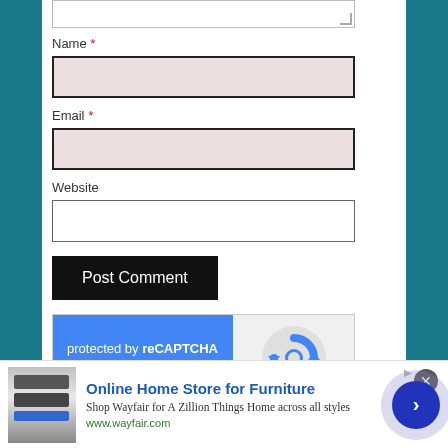[Figure (screenshot): Partial textarea at top of form (comment field, cropped)]
Name *
[Figure (screenshot): Name input field with pink background and dark border]
Email *
[Figure (screenshot): Email input field with pink background and dark border]
Website
[Figure (screenshot): Website input field with white background]
Post Comment
[Figure (screenshot): reCAPTCHA widget: blue left panel with 'protected by reCAPTCHA', Privacy - Terms links; right panel with reCAPTCHA logo]
[Figure (screenshot): Wayfair advertisement bar at bottom: 'Online Home Store for Furniture', shop text, www.wayfair.com, appliance image, navigation arrow]